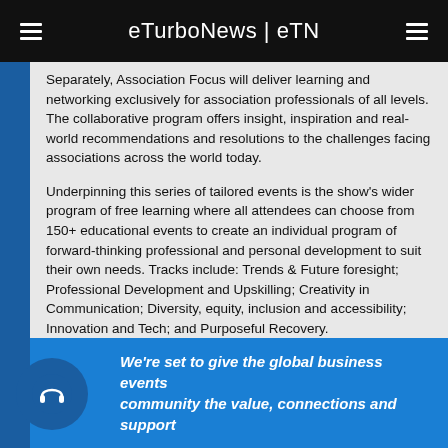eTurboNews | eTN
Separately, Association Focus will deliver learning and networking exclusively for association professionals of all levels. The collaborative program offers insight, inspiration and real-world recommendations and resolutions to the challenges facing associations across the world today.
Underpinning this series of tailored events is the show's wider program of free learning where all attendees can choose from 150+ educational events to create an individual program of forward-thinking professional and personal development to suit their own needs. Tracks include: Trends & Future foresight; Professional Development and Upskilling; Creativity in Communication; Diversity, equity, inclusion and accessibility; Innovation and Tech; and Purposeful Recovery.
We're set to give the global business events community the value, connections and support